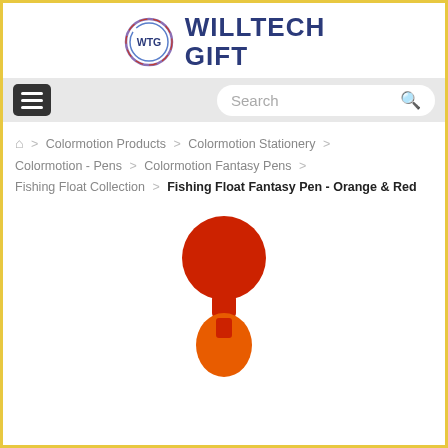[Figure (logo): WillTech Gift logo with WTG circular emblem and bold blue text]
[Figure (screenshot): Navigation bar with hamburger menu and search box]
Home > Colormotion Products > Colormotion Stationery > Colormotion - Pens > Colormotion Fantasy Pens > Fishing Float Collection > Fishing Float Fantasy Pen - Orange & Red
[Figure (photo): Fishing Float Fantasy Pen product photo showing red ball top and orange body]